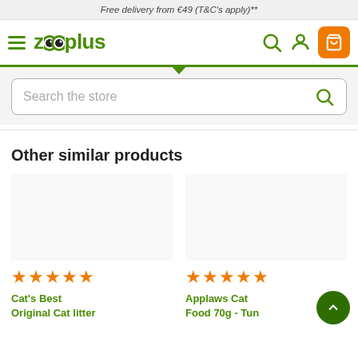Free delivery from €49 (T&C's apply)**
[Figure (logo): Zooplus logo with hamburger menu, search icon, user icon, and orange cart button]
[Figure (screenshot): Search the store input box with green search icon]
Other similar products
Cat's Best Original Cat litter — 5 star rating
Applaws Cat Food 70g - Tun — 5 star rating